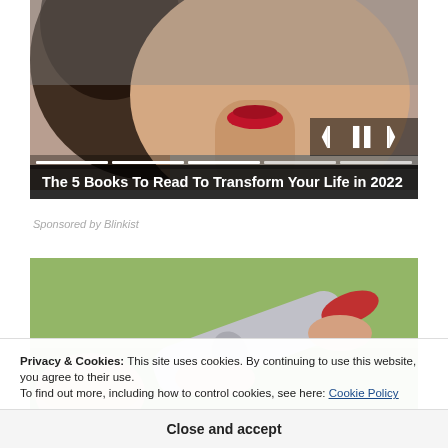[Figure (photo): Partial view of a woman with dark hair and red lips, used as an advertisement image for Blinkist]
The 5 Books To Read To Transform Your Life in 2022
Sponsored by Blinkist
[Figure (photo): Close-up photo of hands holding a small tube or pen-like object (possibly an insulin pen or cosmetic product), with a green blurred background]
Privacy & Cookies: This site uses cookies. By continuing to use this website, you agree to their use.
To find out more, including how to control cookies, see here: Cookie Policy
Close and accept